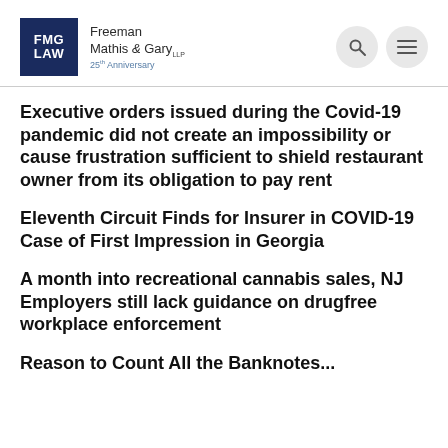[Figure (logo): FMG Law logo - Freeman Mathis & Gary LLP, 25th Anniversary]
Executive orders issued during the Covid-19 pandemic did not create an impossibility or cause frustration sufficient to shield restaurant owner from its obligation to pay rent
Eleventh Circuit Finds for Insurer in COVID-19 Case of First Impression in Georgia
A month into recreational cannabis sales, NJ Employers still lack guidance on drugfree workplace enforcement
Reason to Count All the Banknotes...